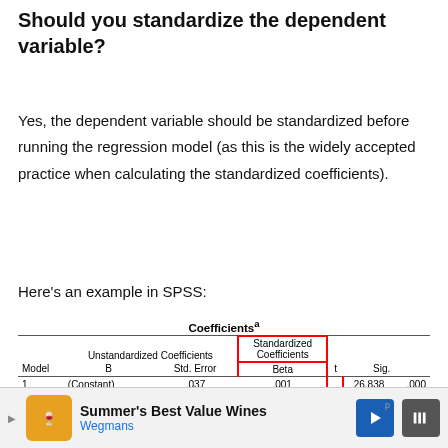Should you standardize the dependent variable?
Yes, the dependent variable should be standardized before running the regression model (as this is the widely accepted practice when calculating the standardized coefficients).
Here's an example in SPSS:
| Model | B | Std. Error | Beta | t | Sig. |
| --- | --- | --- | --- | --- | --- |
| 1 | (Constant) | .037 | .001 |  | 26.838 | .000 |
[Figure (screenshot): Advertisement bar at bottom: Summer's Best Value Wines - Wegmans]